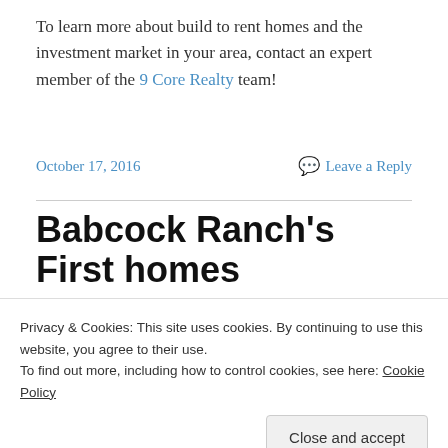To learn more about build to rent homes and the investment market in your area, contact an expert member of the 9 Core Realty team!
October 17, 2016   Leave a Reply
Babcock Ranch's First homes
Privacy & Cookies: This site uses cookies. By continuing to use this website, you agree to their use.
To find out more, including how to control cookies, see here: Cookie Policy
Close and accept
[Figure (photo): Partial aerial or ground-level photo of Babcock Ranch homes visible at bottom of page]